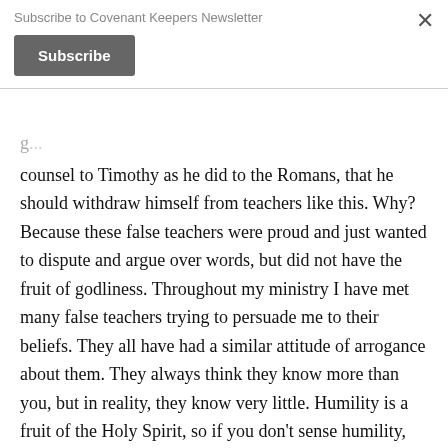Subscribe to Covenant Keepers Newsletter
Subscribe
counsel to Timothy as he did to the Romans, that he should withdraw himself from teachers like this. Why? Because these false teachers were proud and just wanted to dispute and argue over words, but did not have the fruit of godliness. Throughout my ministry I have met many false teachers trying to persuade me to their beliefs. They all have had a similar attitude of arrogance about them. They always think they know more than you, but in reality, they know very little. Humility is a fruit of the Holy Spirit, so if you don't sense humility, watch out - that should also be a red